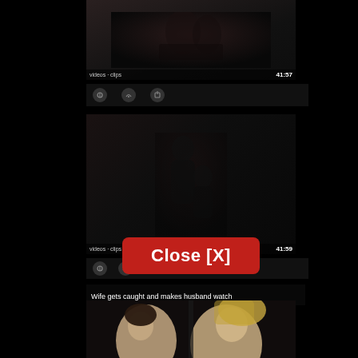[Figure (screenshot): Dark video thumbnail at top of content column showing shadowy figures, with label text and duration '41:57' overlaid at bottom]
[Figure (screenshot): Row of small icon buttons (share, like, etc.) below top thumbnail]
[Figure (screenshot): Large dark video thumbnail in center showing silhouetted figures, with label text and duration '41:59' overlaid at bottom]
[Figure (screenshot): Row of small icon buttons below center thumbnail]
[Figure (screenshot): Red 'Close [X]' button overlaid on the center area]
Wife gets caught and makes husband watch
[Figure (photo): Bottom thumbnail showing two faces close together - a young man and a blonde woman]